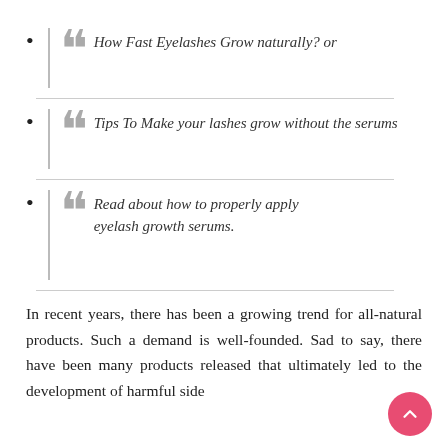How Fast Eyelashes Grow naturally? or
Tips To Make your lashes grow without the serums
Read about how to properly apply eyelash growth serums.
In recent years, there has been a growing trend for all-natural products. Such a demand is well-founded. Sad to say, there have been many products released that ultimately led to the development of harmful side